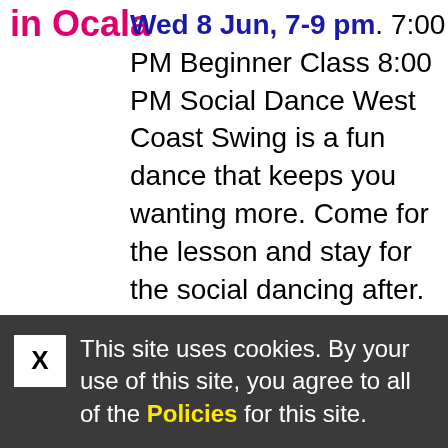in Ocala
Wed 8 Jun, 7-9 pm. 7:00 PM Beginner Class 8:00 PM Social Dance West Coast Swing is a fun dance that keeps you wanting more. Come for the lesson and stay for the social dancing after. Drill down on your Basics and learn lots of dance concepts to get ready for our fun
This site uses cookies. By your use of this site, you agree to all of the Policies for this site.